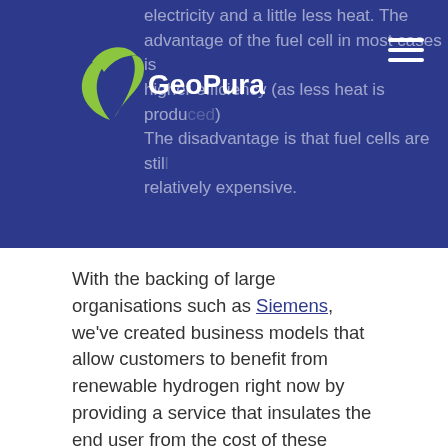[Figure (logo): GeoPura logo with green leaf/wind swirl icon and white text on dark blue background header bar]
electricity and a little less heat. The advantage of the fuel cell in most cases is higher efficiency (as less heat is produced). The disadvantage is that fuel cells are still relatively expensive.
With the backing of large organisations such as Siemens, we've created business models that allow customers to benefit from renewable hydrogen right now by providing a service that insulates the end user from the cost of these components.
We're positioning ourselves as market leaders in the renewable hydrogen supply chain to the benefit of our customers and the environment.
How can you get involved?
Our friendly team are on-hand. We want to